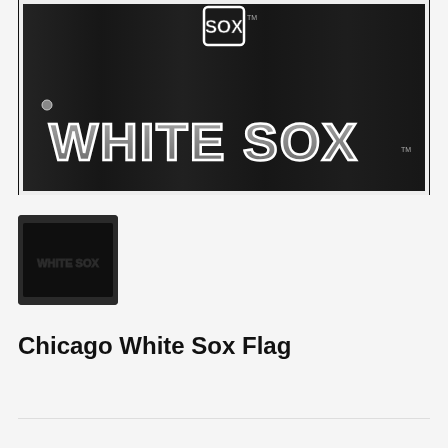[Figure (photo): Chicago White Sox flag with black background, large 'WHITE SOX' text in gray block letters with white outline, and White Sox logo at top center]
[Figure (photo): Small thumbnail of the Chicago White Sox flag, blurred/dark preview image]
Chicago White Sox Flag